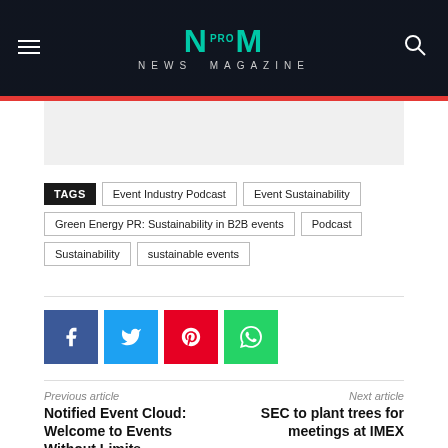NM PRO NEWS MAGAZINE
[Figure (other): Advertisement placeholder box]
TAGS: Event Industry Podcast | Event Sustainability | Green Energy PR: Sustainability in B2B events | Podcast | Sustainability | sustainable events
[Figure (infographic): Social share buttons: Facebook, Twitter, Pinterest, WhatsApp]
Previous article
Notified Event Cloud: Welcome to Events Without Limits
Next article
SEC to plant trees for meetings at IMEX